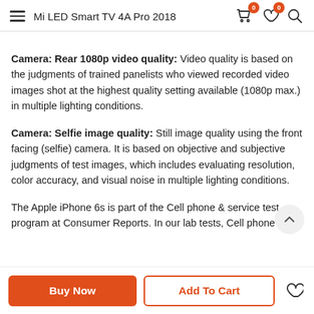Mi LED Smart TV 4A Pro 2018
Camera: Rear 1080p video quality: Video quality is based on the judgments of trained panelists who viewed recorded video images shot at the highest quality setting available (1080p max.) in multiple lighting conditions.
Camera: Selfie image quality: Still image quality using the front facing (selfie) camera. It is based on objective and subjective judgments of test images, which includes evaluating resolution, color accuracy, and visual noise in multiple lighting conditions.
The Apple iPhone 6s is part of the Cell phone & service test program at Consumer Reports. In our lab tests, Cell phone &
Buy Now | Add To Cart